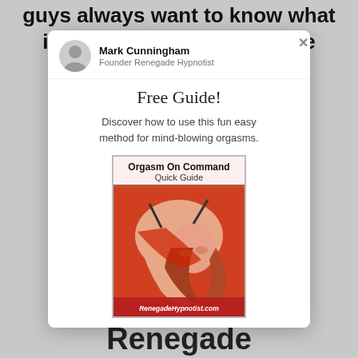guys always want to know what it's like for the woman to be
Mark Cunningham
Founder Renegade Hypnotist
Free Guide!
Discover how to use this fun easy method for mind-blowing orgasms.
[Figure (illustration): Book cover titled 'Orgasm On Command Quick Guide' by RenegadeHypnotist.com, showing a woman with red hair arched back]
Renegade